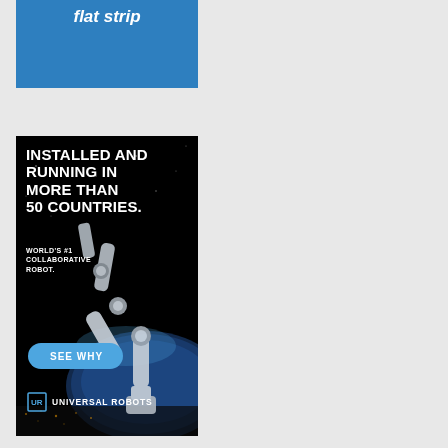[Figure (illustration): Top advertisement banner with blue background showing 'flat strip' text in white bold italic]
[Figure (illustration): Universal Robots advertisement on black background. Text: 'INSTALLED AND RUNNING IN MORE THAN 50 COUNTRIES.' and 'WORLD'S #1 COLLABORATIVE ROBOT.' with a robotic arm image, a 'SEE WHY' button, and Universal Robots logo at bottom.]